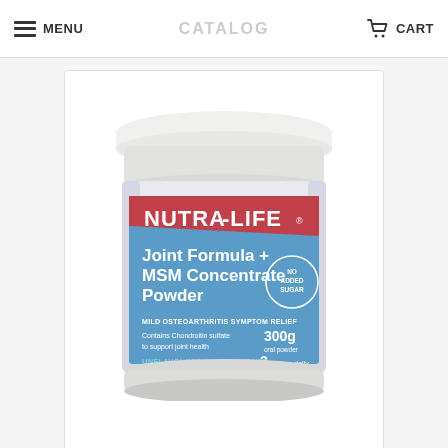MENU | CATALOG | CART
[Figure (photo): Nutra-Life Joint Formula + MSM Concentrate Powder 300g supplement container. White plastic tub with a label featuring a red top section with NUTRA-LIFE logo and blue main section listing: Joint Formula + MSM Concentrate Powder, MILD OSTEOARTHRITIS SYMPTOM RELIEF, Contains Chondroitin sulfate to support joint health, UNFLAVOURED, UNSWEETENED, 300g oral powder, 2 serves daily, NO ADDED SUGAR badge.]